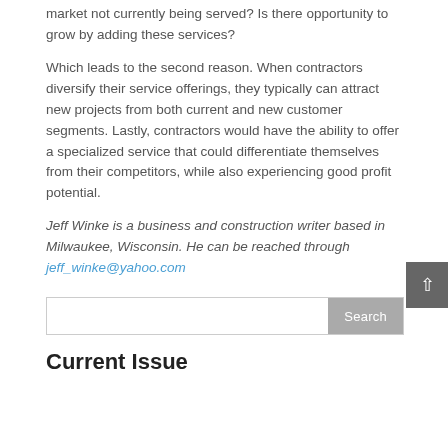market not currently being served? Is there opportunity to grow by adding these services?
Which leads to the second reason. When contractors diversify their service offerings, they typically can attract new projects from both current and new customer segments. Lastly, contractors would have the ability to offer a specialized service that could differentiate themselves from their competitors, while also experiencing good profit potential.
Jeff Winke is a business and construction writer based in Milwaukee, Wisconsin. He can be reached through jeff_winke@yahoo.com